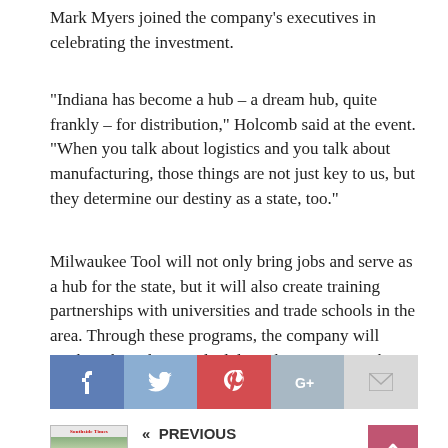Mark Myers joined the company's executives in celebrating the investment.
“Indiana has become a hub – a dream hub, quite frankly – for distribution,” Holcomb said at the event. “When you talk about logistics and you talk about manufacturing, those things are not just key to us, but they determine our destiny as a state, too.”
Milwaukee Tool will not only bring jobs and serve as a hub for the state, but it will also create training partnerships with universities and trade schools in the area. Through these programs, the company will work with students and adults to better prepare them for the workforce.
[Figure (infographic): Social sharing bar with Facebook, Twitter, Pinterest, Google+, and email buttons]
« PREVIOUS
The Southside Times June 24-30, 2021